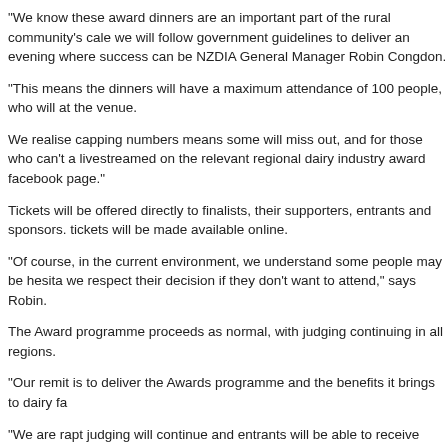"We know these award dinners are an important part of the rural community's cale... we will follow government guidelines to deliver an evening where success can be... NZDIA General Manager Robin Congdon.
"This means the dinners will have a maximum attendance of 100 people, who will... at the venue.
We realise capping numbers means some will miss out, and for those who can't a... livestreamed on the relevant regional dairy industry award facebook page."
Tickets will be offered directly to finalists, their supporters, entrants and sponsors.... tickets will be made available online.
"Of course, in the current environment, we understand some people may be hesita... we respect their decision if they don't want to attend," says Robin.
The Award programme proceeds as normal, with judging continuing in all regions.
"Our remit is to deliver the Awards programme and the benefits it brings to dairy fa...
"We are rapt judging will continue and entrants will be able to receive feedback ar... themselves against others, as well as gaining a deeper understanding of best pra...
The dinners are a great way to announce achievements and celebrate - having to... allocation of tickets feels a bit like having to pick your favourite child!"